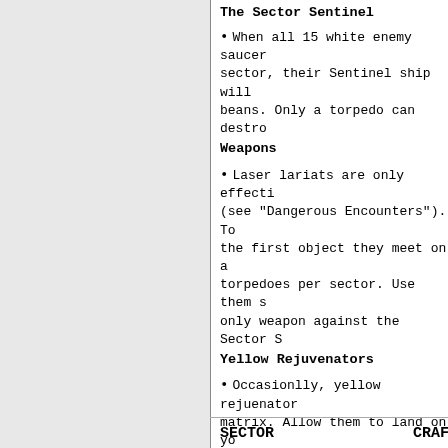The Sector Sentinel
When all 15 white enemy saucers leave the sector, their Sentinel ship will appear and shoot beans. Only a torpedo can destroy it.
Weapons
Laser lariats are only effective against saucers (see "Dangerous Encounters"). Torpedoes destroy the first object they meet on a path. You have 3 torpedoes per sector. Use them sparingly; they're your only weapon against the Sector Sentinel.
Yellow Rejuvenators
Occasionlly, yellow rejuvenators drift into the matrix. Allow them to land on your ship and they will add a bonus ship to your fleet. If you hit a rejuvenator by mistake, it will explode in a deadly blast. Get out of the way! The wave fans out on contact.
DANGEROUS ENCOUNTERS
With the first swing of your lariat, enemy saucers approach. But there's more to worry about: the Restrictor Shield, a sinister presence, will materialize. A new danger is added with each sector, to sector 16.
SECTOR    CRAFT